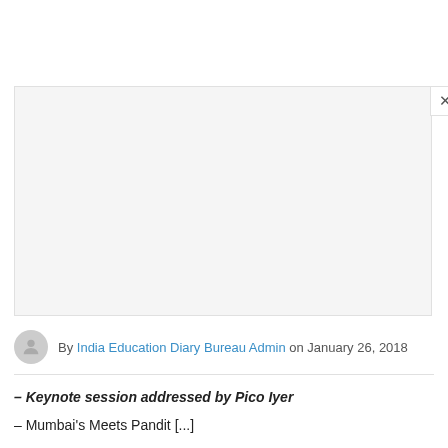[Figure (photo): Large image placeholder with light gray background, with a close (X) button in the top right corner]
By India Education Diary Bureau Admin on January 26, 2018
– Keynote session addressed by Pico Iyer
– Mumbai's Meets Pandit [partial text, cut off]